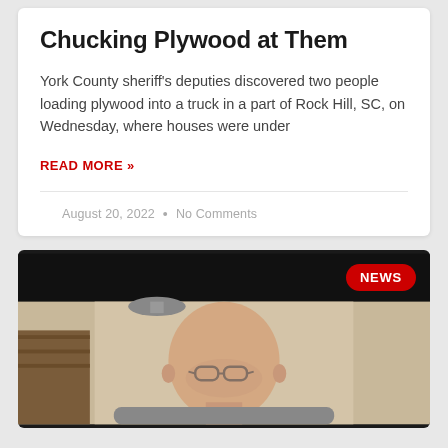Chucking Plywood at Them
York County sheriff's deputies discovered two people loading plywood into a truck in a part of Rock Hill, SC, on Wednesday, where houses were under
READ MORE »
August 20, 2022  •  No Comments
[Figure (photo): Video thumbnail showing a bald man with glasses in an indoor setting, with a black background at the top and a NEWS badge overlay in the top right corner.]